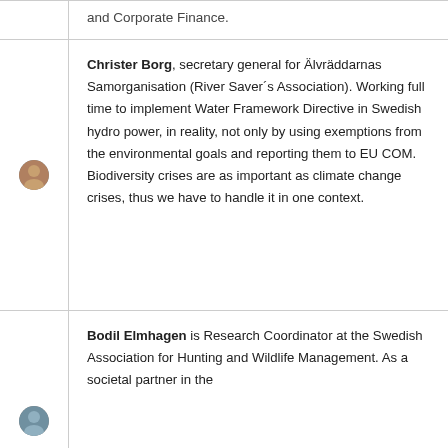and Corporate Finance.
Christer Borg, secretary general for Älvräddarnas Samorganisation (River Saver´s Association). Working full time to implement Water Framework Directive in Swedish hydro power, in reality, not only by using exemptions from the environmental goals and reporting them to EU COM. Biodiversity crises are as important as climate change crises, thus we have to handle it in one context.
Bodil Elmhagen is Research Coordinator at the Swedish Association for Hunting and Wildlife Management. As a societal partner in the